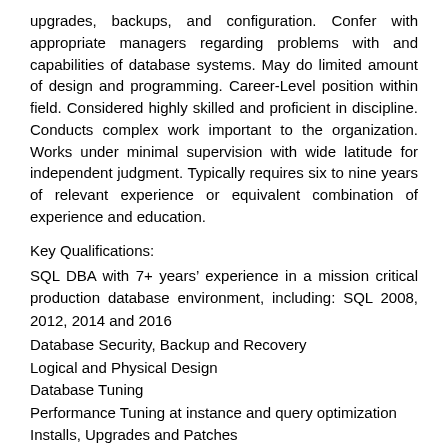upgrades, backups, and configuration. Confer with appropriate managers regarding problems with and capabilities of database systems. May do limited amount of design and programming. Career-Level position within field. Considered highly skilled and proficient in discipline. Conducts complex work important to the organization. Works under minimal supervision with wide latitude for independent judgment. Typically requires six to nine years of relevant experience or equivalent combination of experience and education.
Key Qualifications:
SQL DBA with 7+ years’ experience in a mission critical production database environment, including: SQL 2008, 2012, 2014 and 2016
Database Security, Backup and Recovery
Logical and Physical Design
Database Tuning
Performance Tuning at instance and query optimization
Installs, Upgrades and Patches
Support High Availability Architecture, including Always-On
Cluster Replication and DR configuration
HADR...